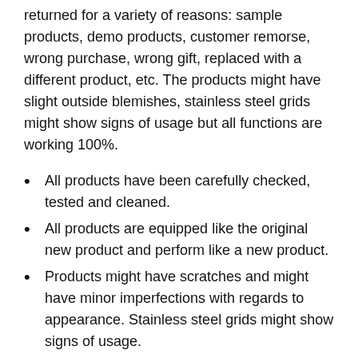returned for a variety of reasons: sample products, demo products, customer remorse, wrong purchase, wrong gift, replaced with a different product, etc. The products might have slight outside blemishes, stainless steel grids might show signs of usage but all functions are working 100%.
All products have been carefully checked, tested and cleaned.
All products are equipped like the original new product and perform like a new product.
Products might have scratches and might have minor imperfections with regards to appearance. Stainless steel grids might show signs of usage.
Factory-serviced products bought from this website come with a 30 day return policy and carry a one year limited warranty.
For automatic coffee centers extended warranty